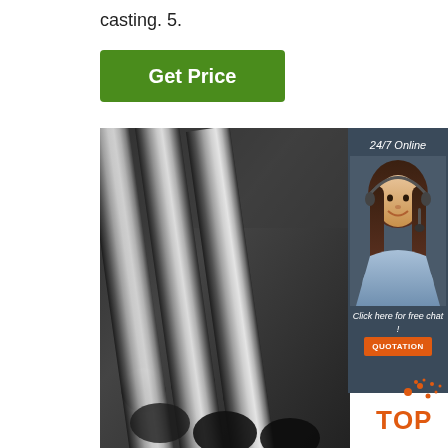casting. 5.
[Figure (other): Green 'Get Price' button]
[Figure (photo): Photo of polished steel round bars/rods stacked together in a dark industrial setting]
[Figure (infographic): Dark blue sidebar panel showing '24/7 Online' text, a customer service agent woman with headset smiling, 'Click here for free chat!' text, and an orange 'QUOTATION' button]
[Figure (logo): TOP logo in bottom right corner with orange dots splash design]